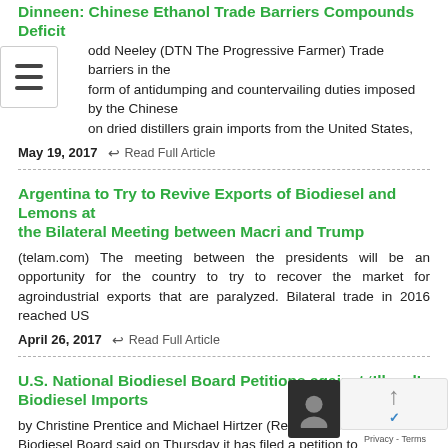Dinneen: Chinese Ethanol Trade Barriers Compounds Deficit
Todd Neeley (DTN The Progressive Farmer) Trade barriers in the form of antidumping and countervailing duties imposed by the Chinese on dried distillers grain imports from the United States,
May 19, 2017   Read Full Article
Argentina to Try to Revive Exports of Biodiesel and Lemons at the Bilateral Meeting between Macri and Trump
(telam.com) The meeting between the presidents will be an opportunity for the country to try to recover the market for agroindustrial exports that are paralyzed. Bilateral trade in 2016 reached US
April 26, 2017   Read Full Article
U.S. National Biodiesel Board Petitions against ‘Illegal’ Biodiesel Imports
by Christine Prentice and Michael Hirtzer (Reuters)  The Biodiesel Board said on Thursday it has filed a petition to the government to investigate imports from Argentina and In... saying.